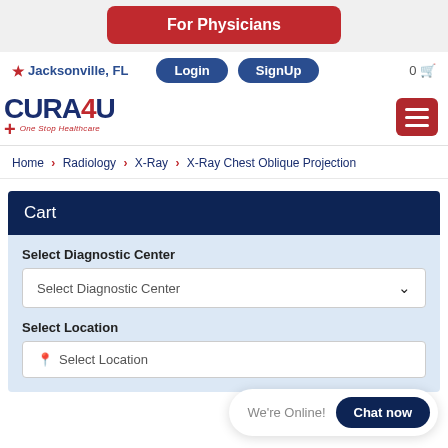For Physicians
Jacksonville, FL   Login   SignUp   0
[Figure (logo): CURA4U One Stop Healthcare logo with red cross symbol and hamburger menu button]
Home > Radiology > X-Ray > X-Ray Chest Oblique Projection
Cart
Select Diagnostic Center
Select Diagnostic Center (dropdown)
Select Location
Select Location (input field)
We're Online!  Chat now